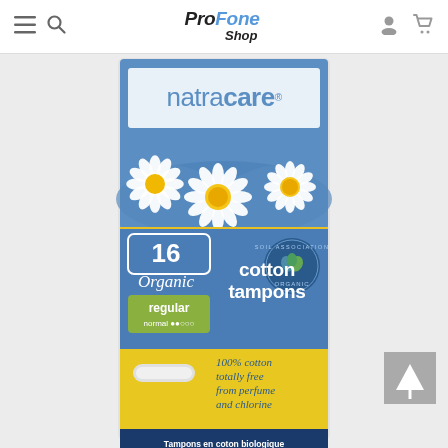ProFoneShop — navigation header with menu, search, logo, user and cart icons
[Figure (photo): Natracare product box: 16 Organic cotton tampons regular, 100% cotton totally free from perfume and chlorine. Soil Association Organic certified. Blue box with daisy flowers. Bottom text in French: Tampons en coton biologique, 100% Coton · Sans parfum, Sans blanchiment au chlore.]